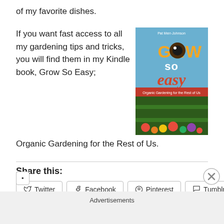of my favorite dishes.
If you want fast access to all my gardening tips and tricks, you will find them in my Kindle book, Grow So Easy;
[Figure (photo): Book cover of 'Grow So Easy: Organic Gardening for the Rest of Us']
Organic Gardening for the Rest of Us.
Share this:
Twitter | Facebook | Pinterest | Tumblr
Advertisements